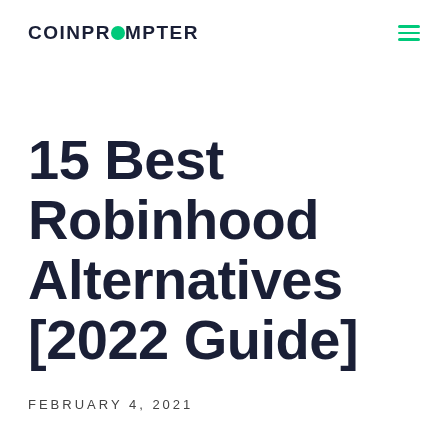COINPROMPTER
15 Best Robinhood Alternatives [2022 Guide]
FEBRUARY 4, 2021